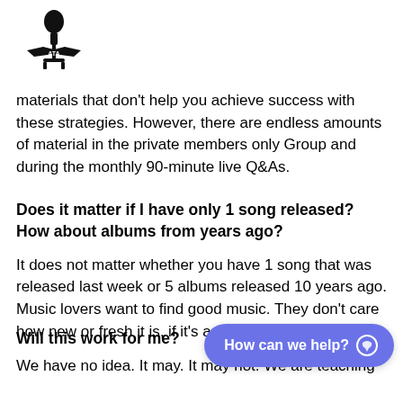[Figure (logo): ATA logo with microphone and banner reading ATA]
materials that don't help you achieve success with these strategies. However, there are endless amounts of material in the private members only Group and during the monthly 90-minute live Q&As.
Does it matter if I have only 1 song released? How about albums from years ago?
It does not matter whether you have 1 song that was released last week or 5 albums released 10 years ago. Music lovers want to find good music. They don't care how new or fresh it is, if it's amazing.
Will this work for me?
We have no idea. It may. It may not. We are teaching